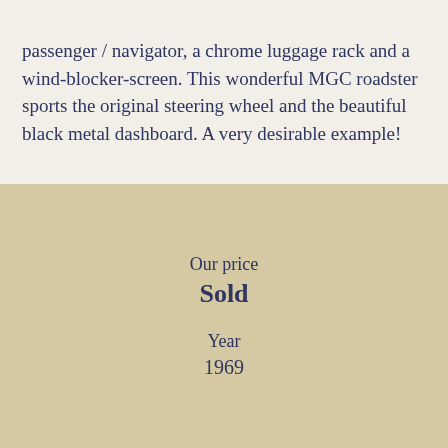passenger / navigator, a chrome luggage rack and a wind-blocker-screen. This wonderful MGC roadster sports the original steering wheel and the beautiful black metal dashboard. A very desirable example!
Our price
Sold
Year
1969